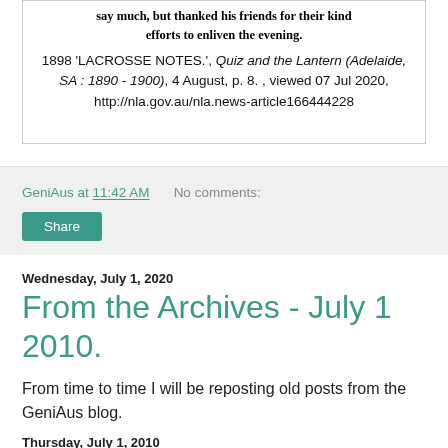say much, but thanked his friends for their kind efforts to enliven the evening.
1898 'LACROSSE NOTES.', Quiz and the Lantern (Adelaide, SA : 1890 - 1900), 4 August, p. 8. , viewed 07 Jul 2020, http://nla.gov.au/nla.news-article166444228
GeniAus at 11:42 AM   No comments:
Share
Wednesday, July 1, 2020
From the Archives - July 1 2010.
From time to time I will be reposting old posts from the GeniAus blog.
Thursday, July 1, 2010